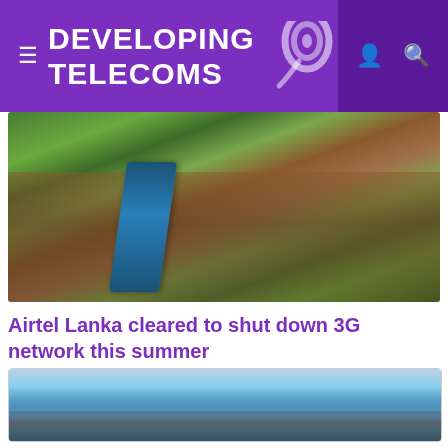DEVELOPING TELECOMS
[Figure (photo): Aerial view of Sri Lanka landscape with a train running through green fields and villages]
Airtel Lanka cleared to shut down 3G network this summer
OPERATORS
[Figure (photo): Harbour/port scene with boats docked, buildings in background and cloudy sky]